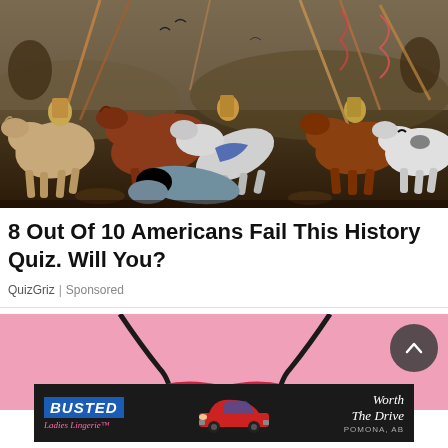[Figure (illustration): Renaissance battle painting depicting armored knights on horseback with lances and weapons, fallen horses and soldiers, detailed figures in a chaotic battle scene with muted earth tones.]
8 Out Of 10 Americans Fail This History Quiz. Will You?
QuizGriz | Sponsored
[Figure (photo): Photo of a pink background with a red and black lingerie bra visible at top and bottom edges.]
[Figure (advertisement): Busted Ladies Lingerie advertisement banner with dark background, blue BUSTED logo, pink script text, vintage red car graphic, and 'Worth The Drive' text with POMONA, AB location.]